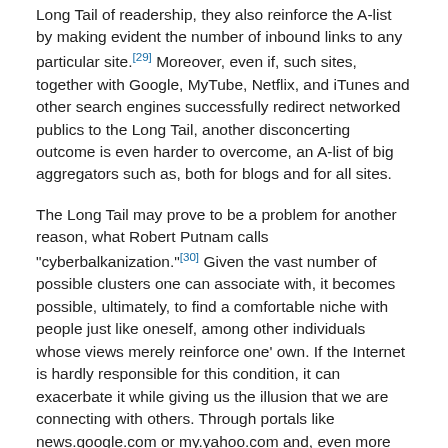Long Tail of readership, they also reinforce the A-list by making evident the number of inbound links to any particular site.[29] Moreover, even if, such sites, together with Google, MyTube, Netflix, and iTunes and other search engines successfully redirect networked publics to the Long Tail, another disconcerting outcome is even harder to overcome, an A-list of big aggregators such as, both for blogs and for all sites.
The Long Tail may prove to be a problem for another reason, what Robert Putnam calls "cyberbalkanization."[30] Given the vast number of possible clusters one can associate with, it becomes possible, ultimately, to find a comfortable niche with people just like oneself, among other individuals whose views merely reinforce one' own. If the Internet is hardly responsible for this condition, it can exacerbate it while giving us the illusion that we are connecting with others. Through portals like news.google.com or my.yahoo.com and, even more so, through RSS readers, Nicholas Negroponte' vision of a personalized newspaper freshly constructed for us every morning, tailored to our interests, is a reality. Even big media, under pressures of post-Fordist flexible consumption, has itself fragmented into a myriad of channels. But this desire for relevance is dangerous. It is entirely possible to essentially fabricate the outside world, reducing it to a projection of oneself. Rather than fostering deliberation, blogs can simply reinforce opinions between like-minded individuals. Conservatives talk to conservatives while liberals talk to liberals. Lacking a common platform for deliberation, they reinforce existing differences. Moreover, new divisions occur. Humans